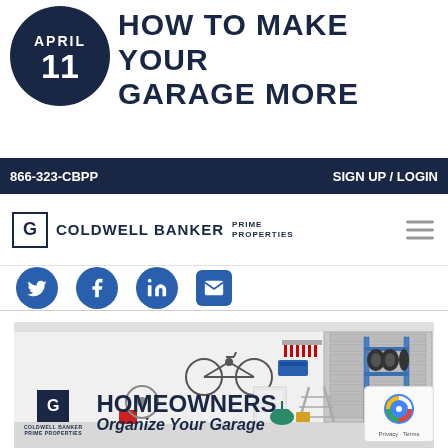APRIL 11
HOW TO MAKE YOUR GARAGE MORE
866-323-CBPP   SIGN UP / LOGIN
[Figure (logo): Coldwell Banker Prime Properties logo with hamburger menu icon]
[Figure (illustration): Social media share icons: Twitter, Facebook, LinkedIn, Email]
[Figure (photo): Organized garage interior with bicycle, tools on wall, shelving, tires, appliances, and storage containers. Overlay shows Coldwell Banker Prime Properties logo with text HOMEOWNERS Organize Your Garage]